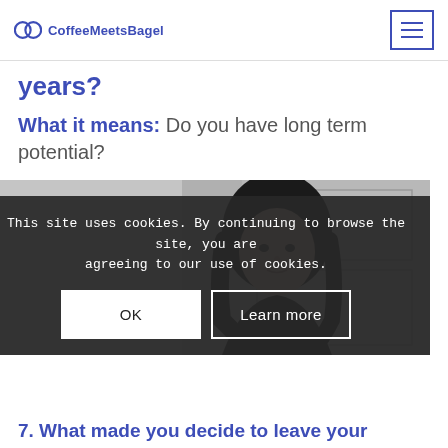CoffeeMeetsBagel
years?
What it means: Do you have long term potential?
[Figure (photo): Black and white photo of a young woman with dark hair looking at the camera, standing near a door]
This site uses cookies. By continuing to browse the site, you are agreeing to our use of cookies.
OK
Learn more
7. What made you decide to leave your